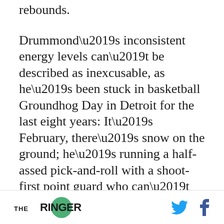rebounds.
Drummond’s inconsistent energy levels can’t be described as inexcusable, as he’s been stuck in basketball Groundhog Day in Detroit for the last eight years: It’s February, there’s snow on the ground; he’s running a half-assed pick-and-roll with a shoot-first point guard who can’t shoot; there’s a 31 percent 3-point shooter standing in the corner who doesn’t want the ball; the half-empty home crowd is sitting on their hands; and the team is still, always, somehow in the hunt for the 8-seed no matter what happens. In other
THE RINGER